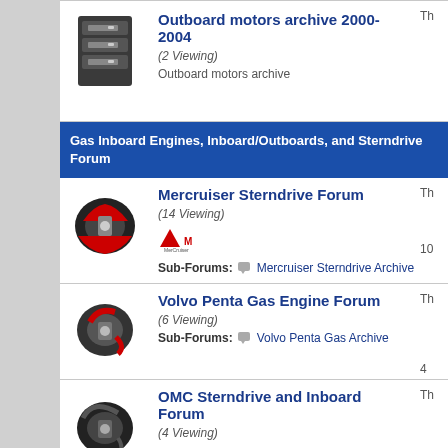Outboard motors archive 2000-2004
(2 Viewing)
Outboard motors archive
Gas Inboard Engines, Inboard/Outboards, and Sterndrive Forum
Mercruiser Sterndrive Forum
(14 Viewing)
Sub-Forums: Mercruiser Sterndrive Archive
Volvo Penta Gas Engine Forum
(6 Viewing)
Sub-Forums: Volvo Penta Gas Archive
OMC Sterndrive and Inboard Forum
(4 Viewing)
Sub-Forums: